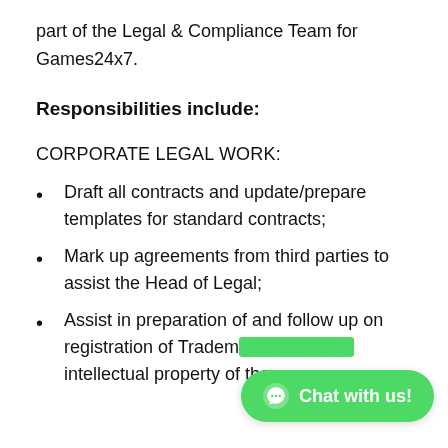part of the Legal & Compliance Team for Games24x7.
Responsibilities include:
CORPORATE LEGAL WORK:
Draft all contracts and update/prepare templates for standard contracts;
Mark up agreements from third parties to assist the Head of Legal;
Assist in preparation of and follow up on registration of Tradem[arks and other] intellectual property of the company;